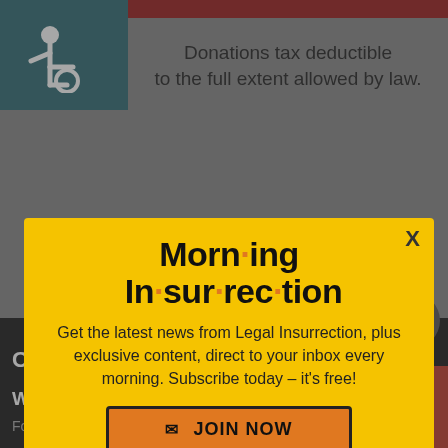[Figure (logo): Wheelchair accessibility icon in white on teal background]
Donations tax deductible to the full extent allowed by law.
[Figure (infographic): Morning Insurrection modal popup with yellow background. Title: 'Morn·ing In·sur·rec·tion'. Body: 'Get the latest news from Legal Insurrection, plus exclusive content, direct to your inbox every morning. Subscribe today – it's free!' Button: 'JOIN NOW']
CONTRIBUTORS
Willia
Found
Back to top
[Figure (infographic): AllTech Services advertisement: A/C System Tune ONLY $77! LEARN MORE]